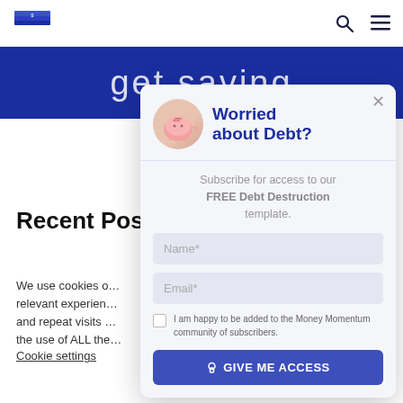Money Momentum logo, search icon, menu icon
[Figure (screenshot): Blue banner with cursive white text partially visible behind modal]
Recent Pos…
We use cookies o… relevant experien… and repeat visits … the use of ALL the…
Cookie settings
[Figure (screenshot): Modal popup: Worried about Debt? Subscribe for access to our FREE Debt Destruction template. Name field, Email field, checkbox for Money Momentum community, GIVE ME ACCESS button.]